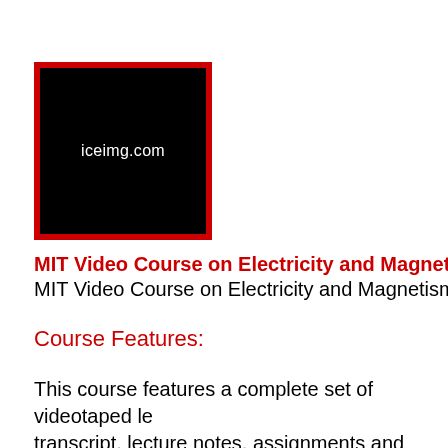[Figure (logo): Black square with red border containing white text 'iceimg.com']
MIT Video Course on Electricity and Magnetism f
MIT Video Course on Electricity and Magnetism and
Course Features:
This course features a complete set of videotaped le transcript, lecture notes, assignments and solutions, The 36 video lectures on Electricity and Magnetism, were recorded on the MIT campus.